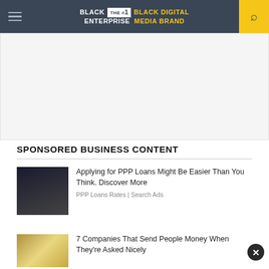BLACK ENTERPRISE THE #1 BLACK DIGITAL MEDIA BRAND
[Figure (other): Advertisement placeholder area, light gray background]
SPONSORED BUSINESS CONTENT
Applying for PPP Loans Might Be Easier Than You Think. Discover More
PPP Loans Rates | Search Ads
7 Companies That Send People Money When They're Asked Nicely